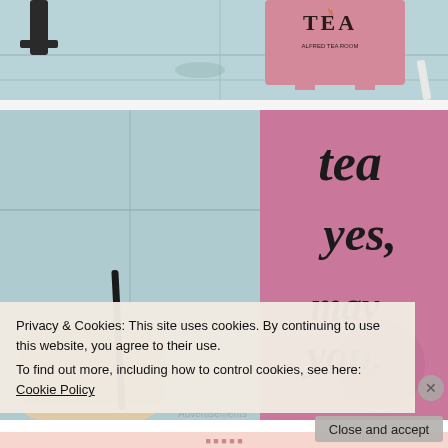[Figure (photo): Top portion of a photo showing a pink sandwich board sign with a deer logo and 'TEA' text on a concrete sidewalk background with teal/blue tones. A cup with straw is partially visible.]
[Figure (photo): Close-up photo of a pink sandwich board sign with stylized black lettering reading 'tea yes, may you' on a blue-tinted concrete sidewalk. A drink cup with black straw is visible in the lower left corner.]
Privacy & Cookies: This site uses cookies. By continuing to use this website, you agree to their use.
To find out more, including how to control cookies, see here: Cookie Policy
Close and accept